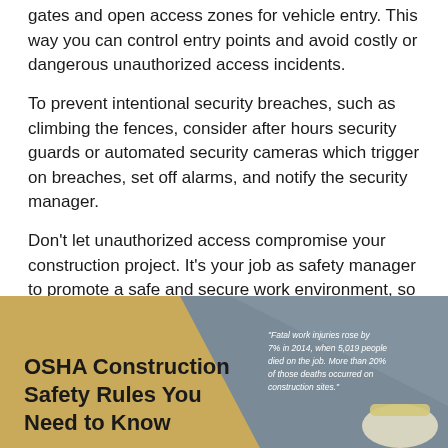gates and open access zones for vehicle entry. This way you can control entry points and avoid costly or dangerous unauthorized access incidents.
To prevent intentional security breaches, such as climbing the fences, consider after hours security guards or automated security cameras which trigger on breaches, set off alarms, and notify the security manager.
Don't let unauthorized access compromise your construction project. It's your job as safety manager to promote a safe and secure work environment, so equip yourself with the tools you need to do your job right.
[Figure (infographic): OSHA Construction Safety Rules You Need to Know infographic with gold and grey background, showing text 'Fatal work injuries rose by 7% in 2014, when 5,019 people died on the job. More than 20% of those deaths occurred on construction sites.']